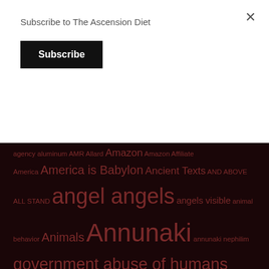Subscribe to The Ascension Diet
Subscribe
agency aluminum AMR Allard Amazon Amazon Affiliate America America is Babylon Ancient Texts AND ABOVE ALL STAND angel angels angels visible animal behavior Animals Annunaki annunaki nephilim government abuse of humans Antarctica antedeluvian antediluvian anthelmintics anti-parasite diet antichrist antideluvian Anubis Anunnaki anunnaki medical establishment anxiety apocalypse Apocrypha Apophis apostacy apple apps archons arctic art Artificial Intelligence artist as above so below